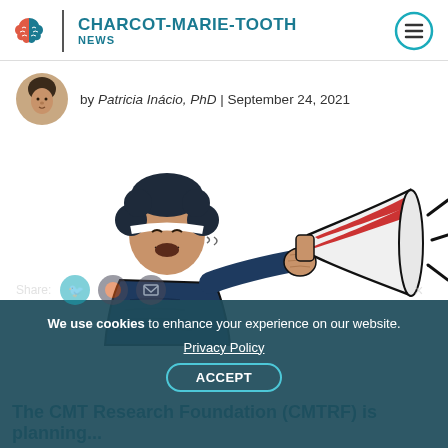CHARCOT-MARIE-TOOTH NEWS
by Patricia Inácio, PhD | September 24, 2021
[Figure (illustration): Illustration of a person with an afro hairstyle shouting into a megaphone, with sound waves coming out. Line-art style in dark navy and red/white colors on white background.]
We use cookies to enhance your experience on our website. Privacy Policy ACCEPT
The CMT Research Foundation (CMTRF) is planning...